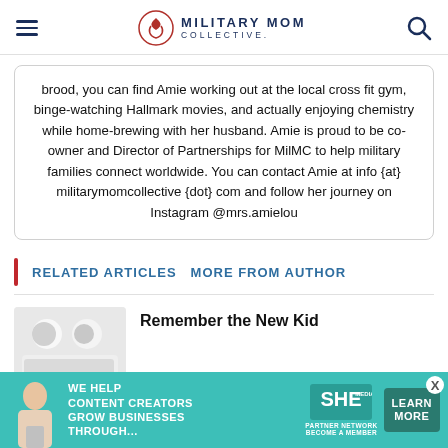MILITARY MOM COLLECTIVE
brood, you can find Amie working out at the local cross fit gym, binge-watching Hallmark movies, and actually enjoying chemistry while home-brewing with her husband. Amie is proud to be co-owner and Director of Partnerships for MilMC to help military families connect worldwide. You can contact Amie at info {at} militarymomcollective {dot} com and follow her journey on Instagram @mrs.amielou
RELATED ARTICLES   MORE FROM AUTHOR
Remember the New Kid
[Figure (photo): Thumbnail image placeholder for article]
[Figure (infographic): SHE Partner Network advertisement banner: WE HELP CONTENT CREATORS GROW BUSINESSES THROUGH... LEARN MORE, BECOME A MEMBER]